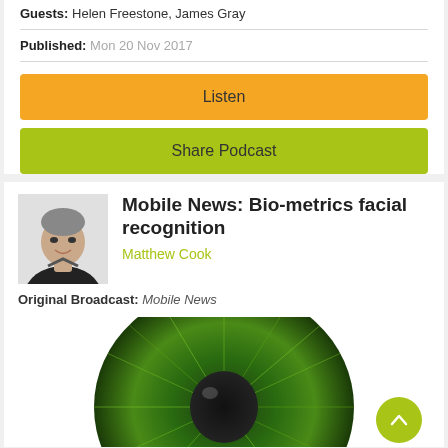Guests: Helen Freestone, James Gray
Published: Mon 20 Nov 2017
Listen
Share Podcast
Mobile News: Bio-metrics facial recognition
Matthew Cook
Original Broadcast: Mobile News
[Figure (photo): Green iris / eye close-up photo used as podcast thumbnail]
[Figure (photo): Headshot photo of Matthew Cook, male with short hair wearing dark top]